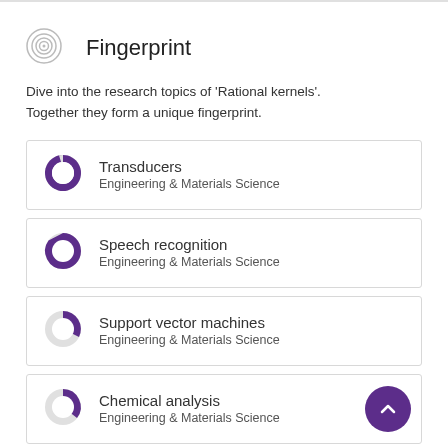Fingerprint
Dive into the research topics of 'Rational kernels'. Together they form a unique fingerprint.
Transducers — Engineering & Materials Science
Speech recognition — Engineering & Materials Science
Support vector machines — Engineering & Materials Science
Chemical analysis — Engineering & Materials Science
View full fingerprint ›